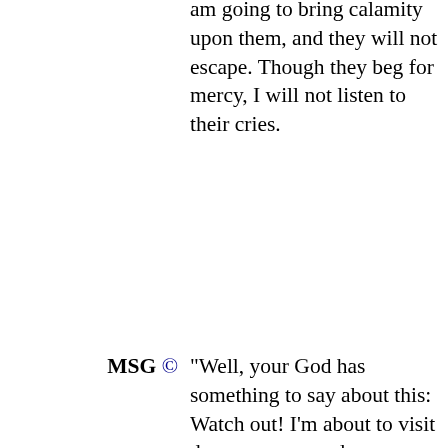am going to bring calamity upon them, and they will not escape. Though they beg for mercy, I will not listen to their cries.
MSG © "Well, your God has something to say about this: Watch out! I'm about to visit doom on you, and no one will get out of it. You're going to cry for help but I won't listen.
BBE © So the Lord has said, I will send evil on them, which they will